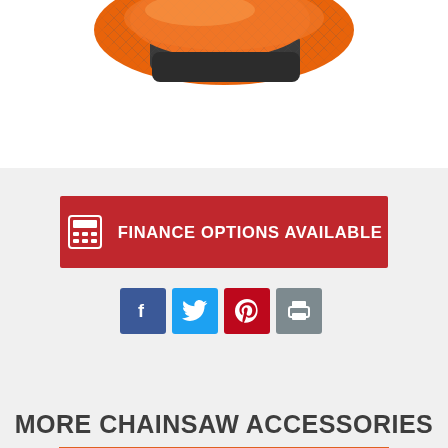[Figure (photo): Partial product image — orange and grey chainsaw accessory/glove shown from above, cropped at top of page]
[Figure (infographic): Red banner with calculator icon and text: FINANCE OPTIONS AVAILABLE]
[Figure (infographic): Four social media share buttons: Facebook (blue), Twitter (light blue), Pinterest (red), Print (grey)]
MORE CHAINSAW ACCESSORIES